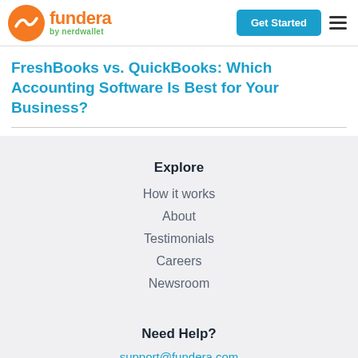Fundera by nerdwallet | Get Started
FreshBooks vs. QuickBooks: Which Accounting Software Is Best for Your Business?
Explore
How it works
About
Testimonials
Careers
Newsroom
Need Help?
support@fundera.com